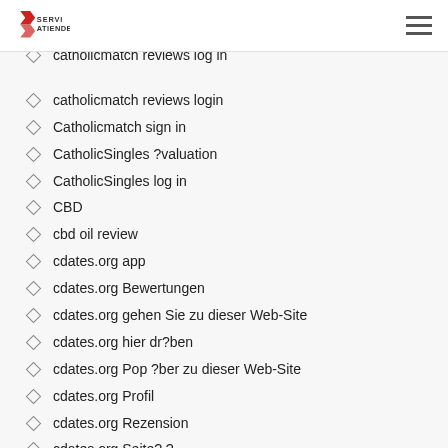SERVI ATIENDE
catholicmatch reviews coupon
catholicmatch reviews log in
catholicmatch reviews login
Catholicmatch sign in
CatholicSingles ?valuation
CatholicSingles log in
CBD
cbd oil review
cdates.org app
cdates.org Bewertungen
cdates.org gehen Sie zu dieser Web-Site
cdates.org hier dr?ben
cdates.org Pop ?ber zu dieser Web-Site
cdates.org Profil
cdates.org Rezension
cdates.org Seite? ?
cdates.org Suche
central cash